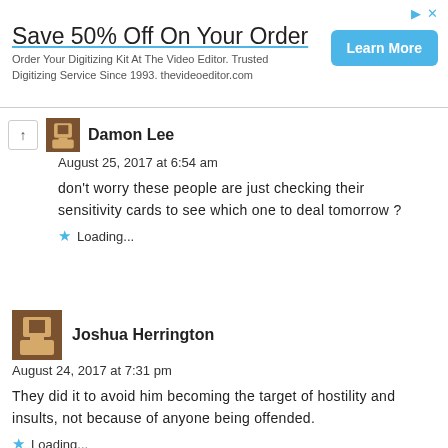[Figure (infographic): Advertisement banner: Save 50% Off On Your Order. Order Your Digitizing Kit At The Video Editor. Trusted Digitizing Service Since 1993. thevideoeditor.com. Learn More button.]
Damon Lee
August 25, 2017 at 6:54 am
don't worry these people are just checking their sensitivity cards to see which one to deal tomorrow ?
Loading...
Joshua Herrington
August 24, 2017 at 7:31 pm
They did it to avoid him becoming the target of hostility and insults, not because of anyone being offended.
Loading...
Log in to Reply